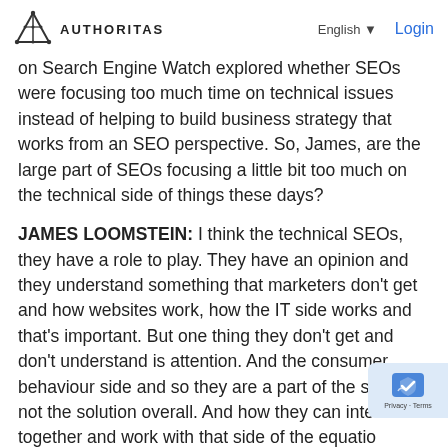AUTHORITAS | English | Login
on Search Engine Watch explored whether SEOs were focusing too much time on technical issues instead of helping to build business strategy that works from an SEO perspective. So, James, are the large part of SEOs focusing a little bit too much on the technical side of things these days?
JAMES LOOMSTEIN: I think the technical SEOs, they have a role to play. They have an opinion and they understand something that marketers don't get and how websites work, how the IT side works and that's important. But one thing they don't get and don't understand is attention. And the consumer behaviour side and so they are a part of the solution. not the solution overall. And how they can inter together and work with that side of the equatio think is probably more important now than it was